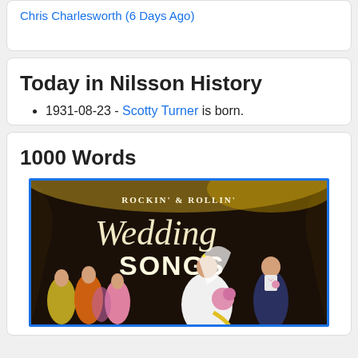Chris Charlesworth (6 Days Ago)
Today in Nilsson History
1931-08-23 - Scotty Turner is born.
1000 Words
[Figure (photo): Album cover for 'Rockin' & Rollin' Wedding Songs' showing a bride and groom with bridesmaids in colorful dresses against a dark ornate background.]